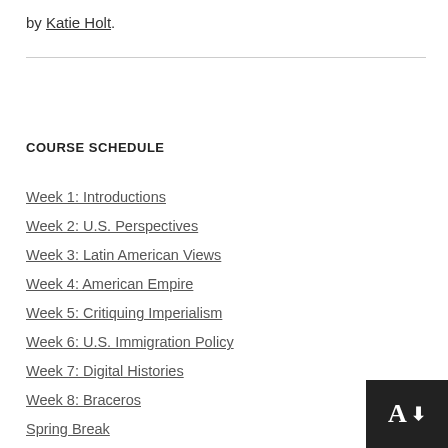by Katie Holt.
COURSE SCHEDULE
Week 1: Introductions
Week 2: U.S. Perspectives
Week 3: Latin American Views
Week 4: American Empire
Week 5: Critiquing Imperialism
Week 6: U.S. Immigration Policy
Week 7: Digital Histories
Week 8: Braceros
Spring Break
Week 9: Cold War Latin America
Week 10: The Latino/a Midwest